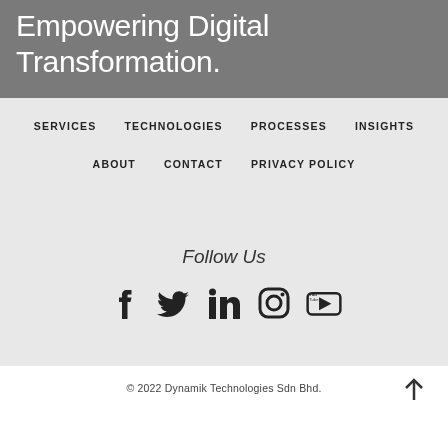Empowering Digital Transformation.
SERVICES
TECHNOLOGIES
PROCESSES
INSIGHTS
ABOUT
CONTACT
PRIVACY POLICY
Follow Us
[Figure (infographic): Social media icons: Facebook, Twitter, LinkedIn, Instagram, YouTube]
© 2022 Dynamik Technologies Sdn Bhd.